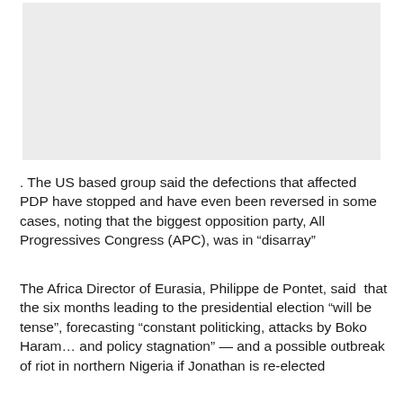[Figure (other): Gray placeholder image region at the top of the page]
. The US based group said the defections that affected PDP have stopped and have even been reversed in some cases, noting that the biggest opposition party, All Progressives Congress (APC), was in “disarray”
The Africa Director of Eurasia, Philippe de Pontet, said that the six months leading to the presidential election “will be tense”, forecasting “constant politicking, attacks by Boko Haram… and policy stagnation” — and a possible outbreak of riot in northern Nigeria if Jonathan is re-elected